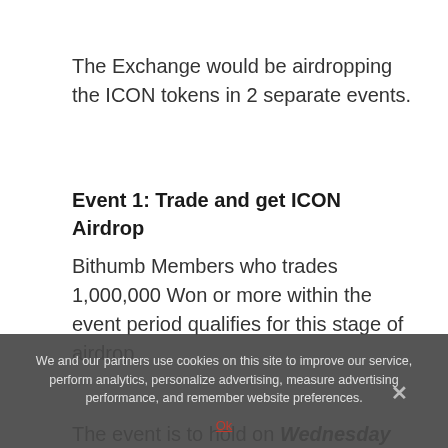The Exchange would be airdropping the ICON tokens in 2 separate events.
Event 1: Trade and get ICON Airdrop
Bithumb Members who trades 1,000,000 Won or more within the event period qualifies for this stage of airdrop.
The event is to hold on Wednesday 21st March 2018 to Sunday 25th March 2018.
We and our partners use cookies on this site to improve our service, perform analytics, personalize advertising, measure advertising performance, and remember website preferences.